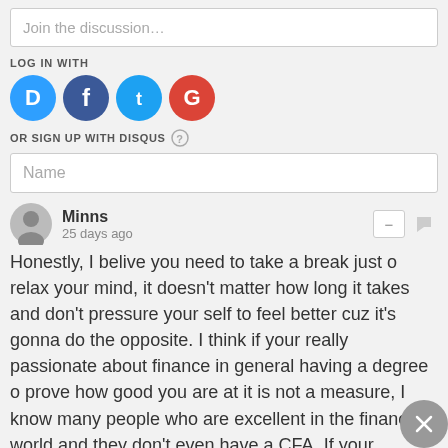Join the discussion…
LOG IN WITH
[Figure (logo): Social login icons: Disqus (blue D), Facebook (dark blue f), Twitter (blue bird), Google (red G)]
OR SIGN UP WITH DISQUS ?
Name
Minns
25 days ago
Honestly, I belive you need to take a break just o relax your mind, it doesn't matter how long it takes and don't pressure your self to feel better cuz it's gonna do the opposite. I think if your really passionate about finance in general having a degree o prove how good you are at it is not a measure, I know many people who are excellent in the finance world and they don't even have a CFA. If your learning everyday and have a stable job that can keep you fed and satisfied I belive that's all that matters. You can climb the corporate ladder ( if you want ofcourse) with things other than the CFA, and